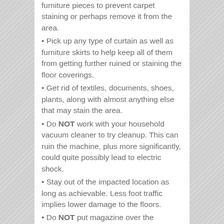furniture pieces to prevent carpet staining or perhaps remove it from the area.
• Pick up any type of curtain as well as furniture skirts to help keep all of them from getting further ruined or staining the floor coverings.
• Get rid of textiles, documents, shoes, plants, along with almost anything else that may stain the area.
• Do NOT work with your household vacuum cleaner to try cleanup. This can ruin the machine, plus more significantly, could quite possibly lead to electric shock.
• Stay out of the impacted location as long as achievable. Less foot traffic implies lower damage to the floors.
• Do NOT put magazine over the disturbed spots. Newsprint ink can easily stain carpet or your floor surfaces.